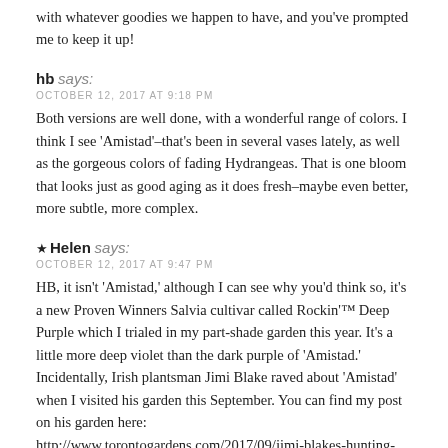with whatever goodies we happen to have, and you've prompted me to keep it up!
hb says:
OCTOBER 12, 2017 AT 9:18 PM
Both versions are well done, with a wonderful range of colors. I think I see 'Amistad'–that's been in several vases lately, as well as the gorgeous colors of fading Hydrangeas. That is one bloom that looks just as good aging as it does fresh–maybe even better, more subtle, more complex.
★ Helen says:
OCTOBER 12, 2017 AT 9:47 PM
HB, it isn't 'Amistad,' although I can see why you'd think so, it's a new Proven Winners Salvia cultivar called Rockin'™ Deep Purple which I trialed in my part-shade garden this year. It's a little more deep violet than the dark purple of 'Amistad.' Incidentally, Irish plantsman Jimi Blake raved about 'Amistad' when I visited his garden this September. You can find my post on his garden here: http://www.torontogardens.com/2017/09/jimi-blakes-hunting-brook-gardens-ireland.html/